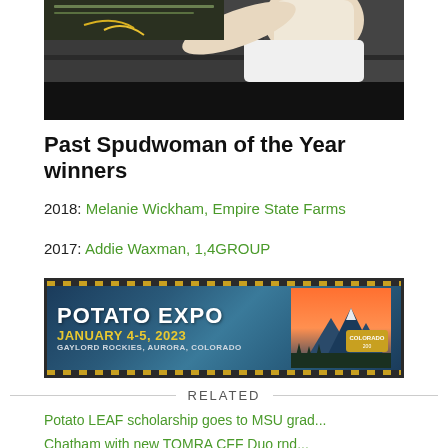[Figure (photo): Person working at a lab bench or equipment station, wearing a white shirt, with dark equipment in the foreground and background]
Past Spudwoman of the Year winners
2018: Melanie Wickham, Empire State Farms
2017: Addie Waxman, 1,4GROUP
[Figure (infographic): Potato Expo advertisement banner: POTATO EXPO JANUARY 4-5, 2023 GAYLORD ROCKIES, AURORA, COLORADO with mountain/Colorado imagery]
RELATED
Potato LEAF scholarship goes to MSU grad...
Chatham with new TOMRA CFF Duo rnd...